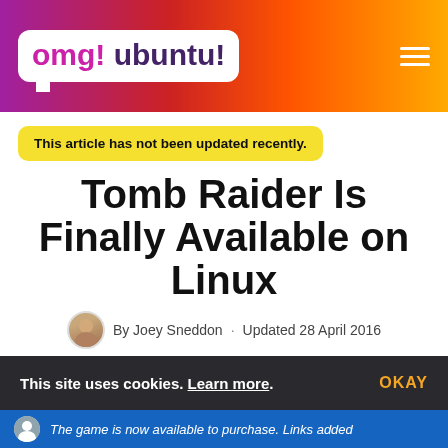omg! ubuntu!
This article has not been updated recently.
Tomb Raider Is Finally Available on Linux
By Joey Sneddon · Updated 28 April 2016
Tweet  Post  Send  41
This site uses cookies. Learn more. OKAY
The game is now available to purchase. Links added